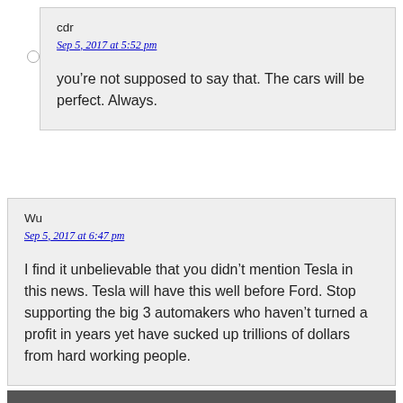cdr
Sep 5, 2017 at 5:52 pm
you’re not supposed to say that. The cars will be perfect. Always.
Wu
Sep 5, 2017 at 6:47 pm
I find it unbelievable that you didn’t mention Tesla in this news. Tesla will have this well before Ford. Stop supporting the big 3 automakers who haven’t turned a profit in years yet have sucked up trillions of dollars from hard working people.